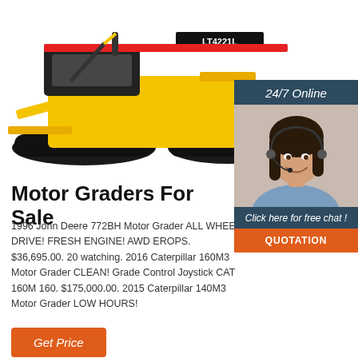[Figure (photo): Yellow and black tracked motor grader / bulldozer machine labeled LT4221L photographed from the side-front angle on white background]
[Figure (photo): 24/7 Online chat widget showing a female customer service agent wearing a headset, with dark blue header reading '24/7 Online', italic text 'Click here for free chat!', and an orange QUOTATION button]
Motor Graders For Sale
1996 John Deere 772BH Motor Grader ALL WHEEL DRIVE! FRESH ENGINE! AWD EROPS. $36,695.00. 20 watching. 2016 Caterpillar 160M3 Motor Grader CLEAN! Grade Control Joystick CAT 160M 160. $175,000.00. 2015 Caterpillar 140M3 Motor Grader LOW HOURS!
Get Price